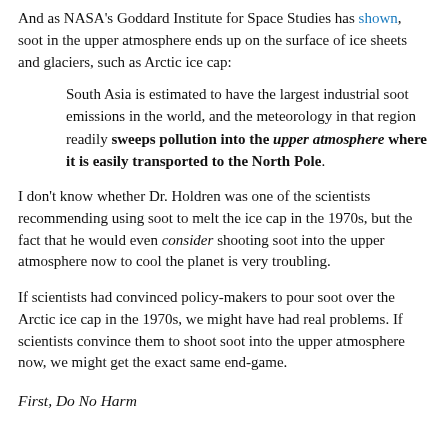And as NASA's Goddard Institute for Space Studies has shown, soot in the upper atmosphere ends up on the surface of ice sheets and glaciers, such as Arctic ice cap:
South Asia is estimated to have the largest industrial soot emissions in the world, and the meteorology in that region readily sweeps pollution into the upper atmosphere where it is easily transported to the North Pole.
I don't know whether Dr. Holdren was one of the scientists recommending using soot to melt the ice cap in the 1970s, but the fact that he would even consider shooting soot into the upper atmosphere now to cool the planet is very troubling.
If scientists had convinced policy-makers to pour soot over the Arctic ice cap in the 1970s, we might have had real problems. If scientists convince them to shoot soot into the upper atmosphere now, we might get the exact same end-game.
First, Do No Harm